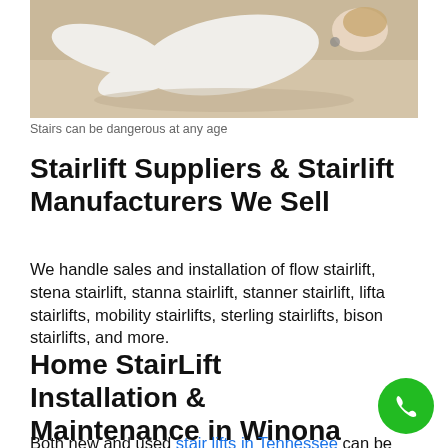[Figure (photo): A person lying on stairs, wearing white clothing, viewed from above — illustrating danger of stairs.]
Stairs can be dangerous at any age
Stairlift Suppliers & Stairlift Manufacturers We Sell
We handle sales and installation of flow stairlift, stena stairlift, stanna stairlift, stanner stairlift, lifta stairlifts, mobility stairlifts, sterling stairlifts, bison stairlifts, and more.
Home StairLift Installation & Maintenance in Winona
Both new and used stair lifts in Tennessee can be